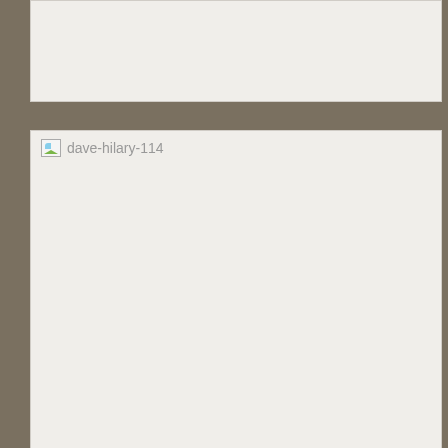[Figure (photo): Broken image placeholder (top card, no alt text)]
[Figure (photo): Broken image placeholder with alt text 'dave-hilary-114']
[Figure (photo): Broken image placeholder (bottom card, small icon, no alt text)]